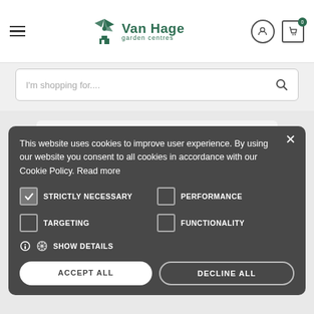[Figure (screenshot): Van Hage garden centres website header with hamburger menu, logo with windmill icon, user icon, and cart icon with badge showing 0]
[Figure (screenshot): Search bar with placeholder text 'I'm shopping for....' and search magnifying glass icon]
[Figure (screenshot): Cookie consent modal dialog on dark background with close button, cookie text, checkboxes for STRICTLY NECESSARY, PERFORMANCE, TARGETING, FUNCTIONALITY, SHOW DETAILS gear icon, ACCEPT ALL and DECLINE ALL buttons]
This website uses cookies to improve user experience. By using our website you consent to all cookies in accordance with our Cookie Policy. Read more
STRICTLY NECESSARY
PERFORMANCE
TARGETING
FUNCTIONALITY
SHOW DETAILS
ACCEPT ALL
DECLINE ALL